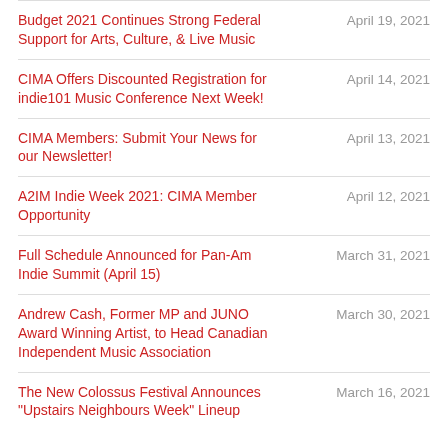Budget 2021 Continues Strong Federal Support for Arts, Culture, & Live Music
CIMA Offers Discounted Registration for indie101 Music Conference Next Week!
CIMA Members: Submit Your News for our Newsletter!
A2IM Indie Week 2021: CIMA Member Opportunity
Full Schedule Announced for Pan-Am Indie Summit (April 15)
Andrew Cash, Former MP and JUNO Award Winning Artist, to Head Canadian Independent Music Association
The New Colossus Festival Announces "Upstairs Neighbours Week" Lineup